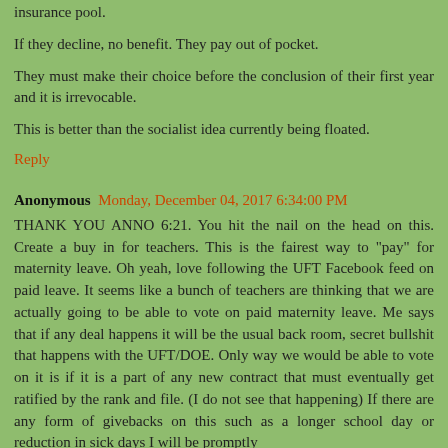insurance pool.
If they decline, no benefit. They pay out of pocket.
They must make their choice before the conclusion of their first year and it is irrevocable.
This is better than the socialist idea currently being floated.
Reply
Anonymous  Monday, December 04, 2017 6:34:00 PM
THANK YOU ANNO 6:21. You hit the nail on the head on this. Create a buy in for teachers. This is the fairest way to "pay" for maternity leave. Oh yeah, love following the UFT Facebook feed on paid leave. It seems like a bunch of teachers are thinking that we are actually going to be able to vote on paid maternity leave. Me says that if any deal happens it will be the usual back room, secret bullshit that happens with the UFT/DOE. Only way we would be able to vote on it is if it is a part of any new contract that must eventually get ratified by the rank and file. (I do not see that happening) If there are any form of givebacks on this such as a longer school day or reduction in sick days I will be promptly